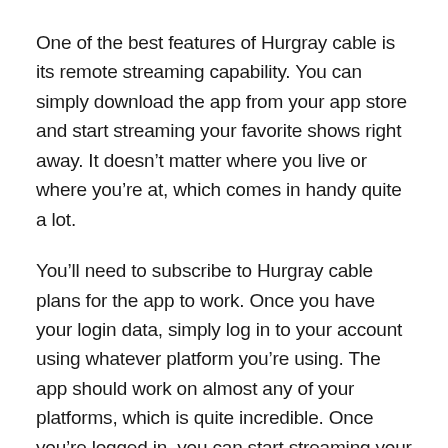One of the best features of Hurgray cable is its remote streaming capability. You can simply download the app from your app store and start streaming your favorite shows right away. It doesn't matter where you live or where you're at, which comes in handy quite a lot.
You'll need to subscribe to Hurgray cable plans for the app to work. Once you have your login data, simply log in to your account using whatever platform you're using. The app should work on almost any of your platforms, which is quite incredible. Once you're logged in, you can start streaming your favorite channels without any sort of hassle.